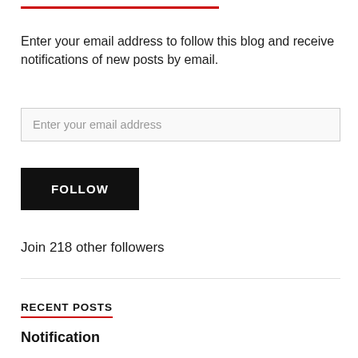Enter your email address to follow this blog and receive notifications of new posts by email.
Enter your email address
FOLLOW
Join 218 other followers
RECENT POSTS
Notification